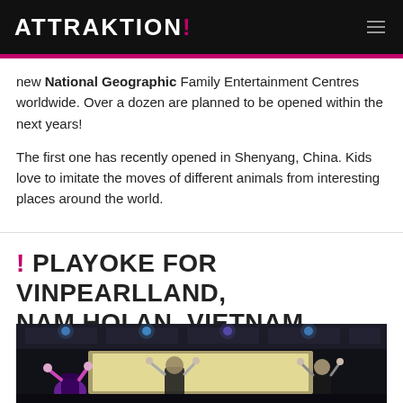ATTRAKTION!
new National Geographic Family Entertainment Centres worldwide. Over a dozen are planned to be opened within the next years!
The first one has recently opened in Shenyang, China. Kids love to imitate the moves of different animals from interesting places around the world.
! PLAYOKE FOR VINPEARLLAND, NAM HOI AN, VIETNAM
[Figure (photo): Dark karaoke/playoke room with people raising hands, colorful lights on ceiling, projection screen in background]